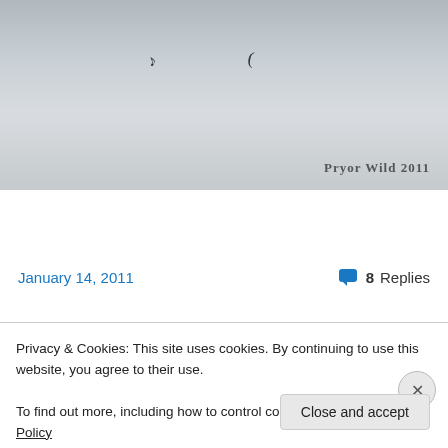[Figure (photo): Snowy landscape photo with two birds visible, watermark reading PRYOR WILD 2011 in bottom right]
Continue reading →
January 14, 2011
8 Replies
January 13, 2011 — Fertility...
Privacy & Cookies: This site uses cookies. By continuing to use this website, you agree to their use.
To find out more, including how to control cookies, see here: Cookie Policy